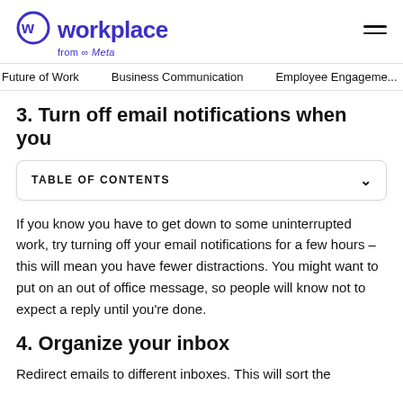workplace from Meta
Future of Work   Business Communication   Employee Engagement
3. Turn off email notifications when you
TABLE OF CONTENTS
If you know you have to get down to some uninterrupted work, try turning off your email notifications for a few hours – this will mean you have fewer distractions. You might want to put on an out of office message, so people will know not to expect a reply until you're done.
4. Organize your inbox
Redirect emails to different inboxes. This will sort the